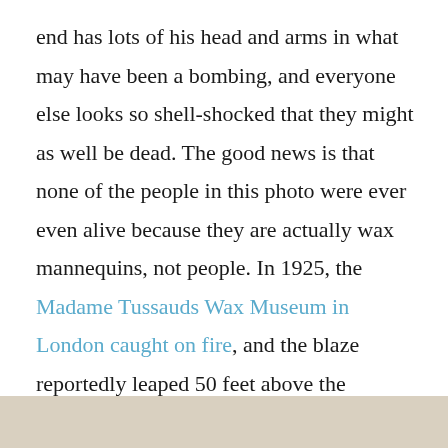end has lots of his head and arms in what may have been a bombing, and everyone else looks so shell-shocked that they might as well be dead. The good news is that none of the people in this photo were ever even alive because they are actually wax mannequins, not people. In 1925, the Madame Tussauds Wax Museum in London caught on fire, and the blaze reportedly leaped 50 feet above the building. It burned for an hour and a half, and these mannequins were all that remained.
[Figure (photo): Bottom strip of a photo, showing a beige/tan background, partially visible at the bottom of the page.]